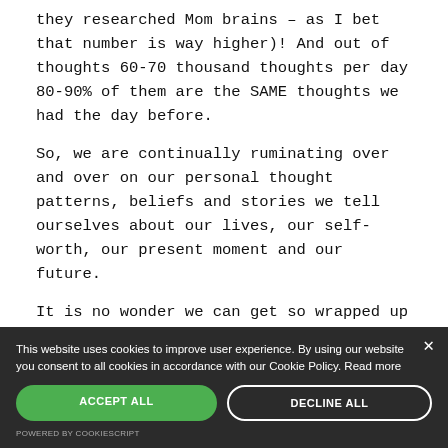they researched Mom brains – as I bet that number is way higher)! And out of thoughts 60-70 thousand thoughts per day 80-90% of them are the SAME thoughts we had the day before.
So, we are continually ruminating over and over on our personal thought patterns, beliefs and stories we tell ourselves about our lives, our self-worth, our present moment and our future.
It is no wonder we can get so wrapped up in
This website uses cookies to improve user experience. By using our website you consent to all cookies in accordance with our Cookie Policy. Read more